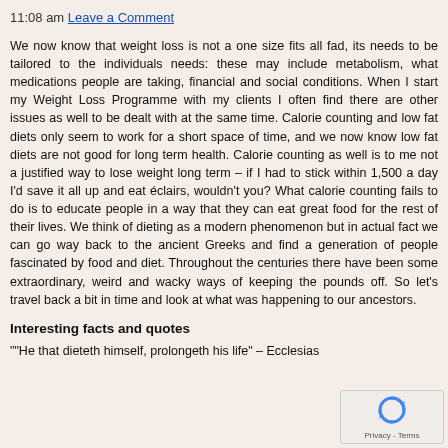11:08 am Leave a Comment
We now know that weight loss is not a one size fits all fad, its needs to be tailored to the individuals needs: these may include metabolism, what medications people are taking, financial and social conditions. When I start my Weight Loss Programme with my clients I often find there are other issues as well to be dealt with at the same time. Calorie counting and low fat diets only seem to work for a short space of time, and we now know low fat diets are not good for long term health. Calorie counting as well is to me not a justified way to lose weight long term – if I had to stick within 1,500 a day I'd save it all up and eat éclairs, wouldn't you? What calorie counting fails to do is to educate people in a way that they can eat great food for the rest of their lives. We think of dieting as a modern phenomenon but in actual fact we can go way back to the ancient Greeks and find a generation of people fascinated by food and diet. Throughout the centuries there have been some extraordinary, weird and wacky ways of keeping the pounds off. So let's travel back a bit in time and look at what was happening to our ancestors.
Interesting facts and quotes
""He that dieteth himself, prolongeth his life" – Ecclesias
[Figure (other): reCAPTCHA privacy overlay widget with circular arrow icon and Privacy - Terms text]